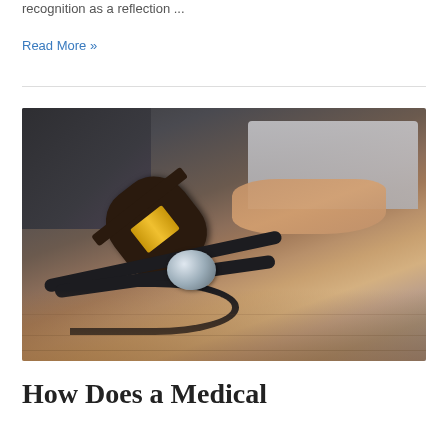recognition as a reflection ...
Read More »
[Figure (photo): A judge's gavel and stethoscope on a wooden desk, with a person typing on a laptop in the background — representing medical law or malpractice.]
How Does a Medical